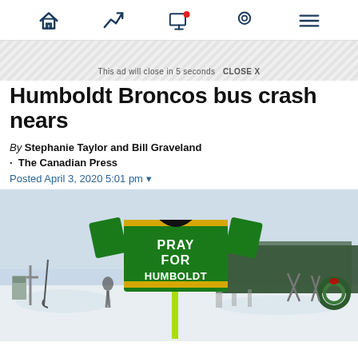Navigation bar with home, trending, notifications, location, and menu icons
This ad will close in 5 seconds  CLOSE X
Humboldt Broncos bus crash nears
By Stephanie Taylor and Bill Graveland · The Canadian Press
Posted April 3, 2020 5:01 pm
[Figure (photo): A green and yellow Humboldt Broncos hockey jersey mounted on a stand reading 'PRAY FOR HUMBOLDT', displayed at a winter roadside memorial with hockey sticks, crosses, and a wreath in a snowy field with trees in the background.]